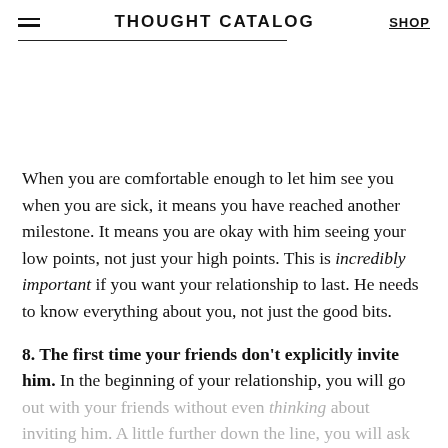THOUGHT CATALOG   SHOP
When you are comfortable enough to let him see you when you are sick, it means you have reached another milestone. It means you are okay with him seeing your low points, not just your high points. This is incredibly important if you want your relationship to last. He needs to know everything about you, not just the good bits.
8. The first time your friends don't explicitly invite him. In the beginning of your relationship, you will go out with your friends without even thinking about inviting him. A little further down the line, you will ask him to tag